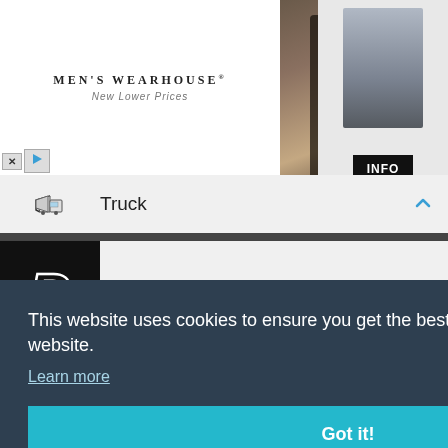[Figure (screenshot): Men's Wearhouse advertisement banner with logo, wedding couple photo, and INFO button]
Truck
Payment PayPal
Electric Charger
This website uses cookies to ensure you get the best experience on our website.
Learn more
Got it!